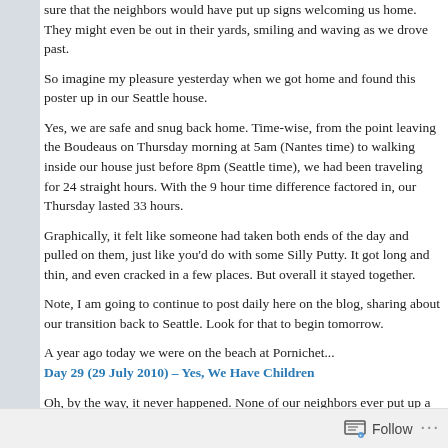...sure that the neighbors would have put up signs welcoming us home. They might even be out in their yards, smiling and waving as we drove past.
So imagine my pleasure yesterday when we got home and found this poster up in our Seattle house.
Yes, we are safe and snug back home. Time-wise, from the point leaving the Boudeaus on Thursday morning at 5am (Nantes time) to walking inside our house just before 8pm (Seattle time), we had been traveling for 24 straight hours. With the 9 hour time difference factored in, our Thursday lasted 33 hours.
Graphically, it felt like someone had taken both ends of the day and pulled on them, just like you'd do with some Silly Putty. It got long and thin, and even cracked in a few places. But overall it stayed together.
Note, I am going to continue to post daily here on the blog, sharing about our transition back to Seattle. Look for that to begin tomorrow.
A year ago today we were on the beach at Pornichet...
Day 29 (29 July 2010) – Yes, We Have Children
Oh, by the way, it never happened. None of our neighbors ever put up a sig...